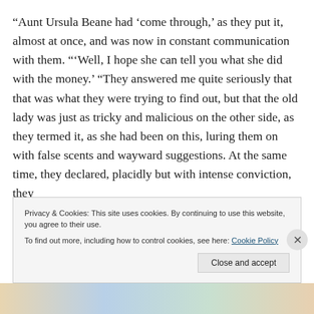“Aunt Ursula Beane had ‘come through,’ as they put it, almost at once, and was now in constant communication with them. “‘Well, I hope she can tell you what she did with the money.’ “They answered me quite seriously that that was what they were trying to find out, but that the old lady was just as tricky and malicious on the other side, as they termed it, as she had been on this, luring them on with false scents and wayward suggestions. At the same time, they declared, placidly but with intense conviction, they
Privacy & Cookies: This site uses cookies. By continuing to use this website, you agree to their use.
To find out more, including how to control cookies, see here: Cookie Policy